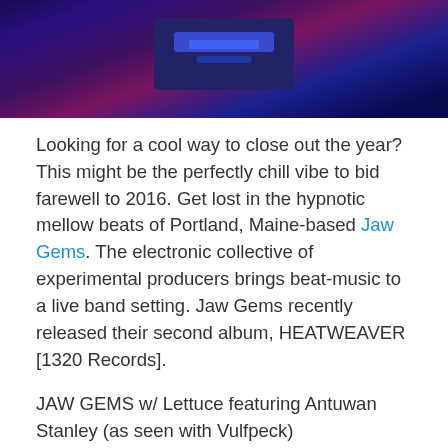[Figure (photo): Concert/performance photo with blue and purple lighting, showing DJ equipment and performers on stage]
Looking for a cool way to close out the year? This might be the perfectly chill vibe to bid farewell to 2016. Get lost in the hypnotic mellow beats of Portland, Maine-based Jaw Gems. The electronic collective of experimental producers brings beat-music to a live band setting. Jaw Gems recently released their second album, HEATWEAVER [1320 Records].
JAW GEMS w/ Lettuce featuring Antuwan Stanley (as seen with Vulfpeck)
& TAUK on Saturday, December 31, 2016 at 8pm
venue info:
HOUSE OF BLUES BOSTON
15 Lansdowne St.